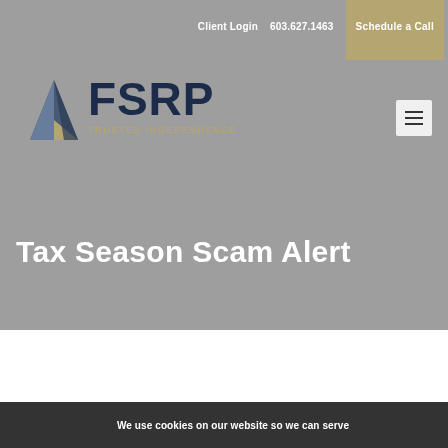Client Login   603.627.1463   Schedule a Call
[Figure (logo): FSRP logo with geometric angular shape in dark blue and gold, with text FSRP in large dark navy font and tagline TRUSTED INDEPENDENCE in gold below]
Tax Season Scam Alert
We use cookies on our website so we can serve